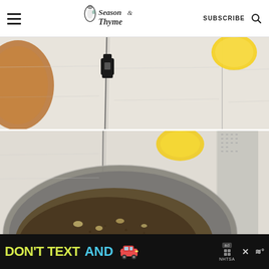Season Thyme — SUBSCRIBE
[Figure (photo): Top-down view of a white wooden surface with a copper bowl edge on the left, a black clip/clamp in the center, and a yellow lemon on the right.]
[Figure (photo): Top-down view of a stainless steel pan with browned butter and garlic bits cooking inside, on a white wooden surface with a lemon and box grater visible.]
[Figure (other): Advertisement banner: DON'T TEXT AND [car emoji] with NHTSA branding, ad badge, and Weatherbug icon on dark background.]